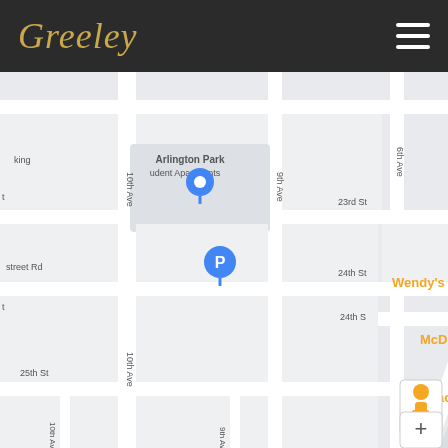Greeley
[Figure (map): Google Maps screenshot showing a street map of Greeley, Colorado. Visible streets include 10th Ave, 9th Ave, 6th Ave, 7th Ave, 22nd St, 23rd St, 24th St, 25th St, and US Bus Route 85. Points of interest labeled include Arlington Park Student Apartments, a blue parking marker, Wendy's, McDonald's, Taco Bell, El Rodeo Night Club, and High Plainz Strains. A red map pin marks the primary location. A yellow street-view figure and + zoom button appear in the lower right.]